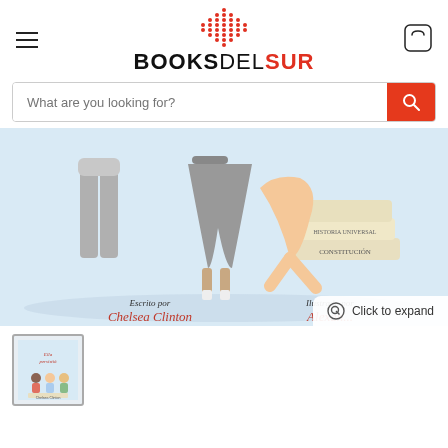BOOKSDELSUR
[Figure (screenshot): Books Del Sur website screenshot showing logo with red dot pattern above, hamburger menu left, cart icon right, search bar, book cover image for 'Ella persistió' written by Chelsea Clinton, illustrated by Alexandra Boiger, with a 'Click to expand' overlay and thumbnail below.]